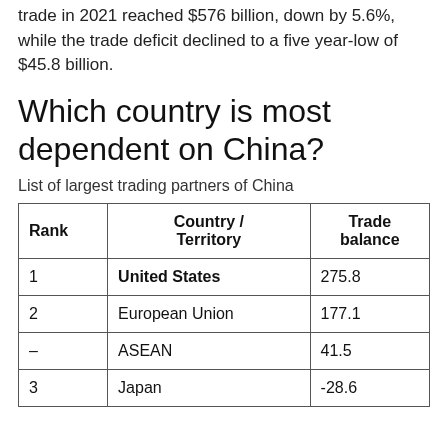trade in 2021 reached $576 billion, down by 5.6%, while the trade deficit declined to a five year-low of $45.8 billion.
Which country is most dependent on China?
List of largest trading partners of China
| Rank | Country / Territory | Trade balance |
| --- | --- | --- |
| 1 | United States | 275.8 |
| 2 | European Union | 177.1 |
| – | ASEAN | 41.5 |
| 3 | Japan | -28.6 |